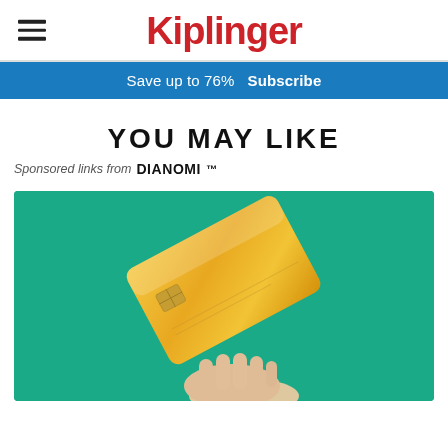Kiplinger
Save up to 76%  Subscribe
YOU MAY LIKE
Sponsored links from Dianomi
[Figure (photo): Hand tossing a gold/yellow credit card in the air against a teal/green background]